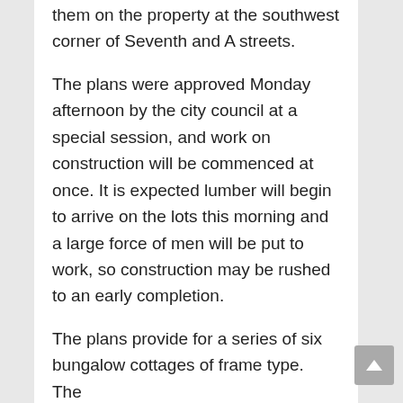them on the property at the southwest corner of Seventh and A streets.
The plans were approved Monday afternoon by the city council at a special session, and work on construction will be commenced at once. It is expected lumber will begin to arrive on the lots this morning and a large force of men will be put to work, so construction may be rushed to an early completion.
The plans provide for a series of six bungalow cottages of frame type. The...